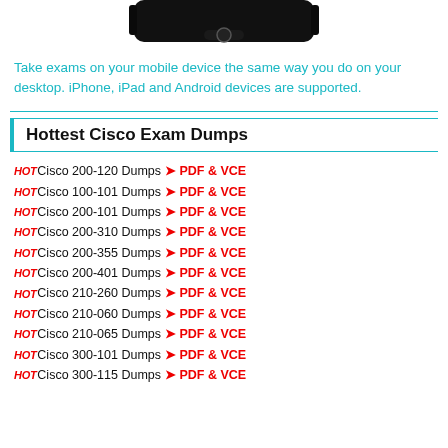[Figure (photo): Partial view of a black mobile phone/tablet device silhouette at the top of the page]
Take exams on your mobile device the same way you do on your desktop. iPhone, iPad and Android devices are supported.
Hottest Cisco Exam Dumps
HOT Cisco 200-120 Dumps ➤ PDF & VCE
HOT Cisco 100-101 Dumps ➤ PDF & VCE
HOT Cisco 200-101 Dumps ➤ PDF & VCE
HOT Cisco 200-310 Dumps ➤ PDF & VCE
HOT Cisco 200-355 Dumps ➤ PDF & VCE
HOT Cisco 200-401 Dumps ➤ PDF & VCE
HOT Cisco 210-260 Dumps ➤ PDF & VCE
HOT Cisco 210-060 Dumps ➤ PDF & VCE
HOT Cisco 210-065 Dumps ➤ PDF & VCE
HOT Cisco 300-101 Dumps ➤ PDF & VCE
HOT Cisco 300-115 Dumps ➤ PDF & VCE